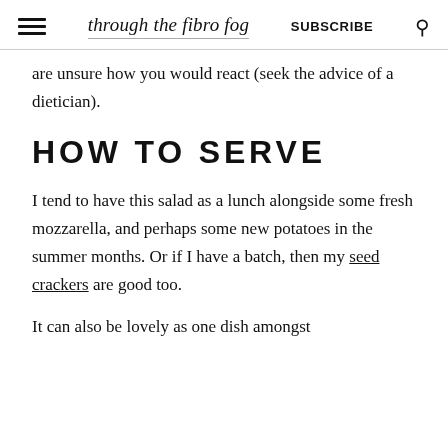through the fibro fog  SUBSCRIBE
are unsure how you would react (seek the advice of a dietician).
HOW TO SERVE
I tend to have this salad as a lunch alongside some fresh mozzarella, and perhaps some new potatoes in the summer months. Or if I have a batch, then my seed crackers are good too.
It can also be lovely as one dish amongst